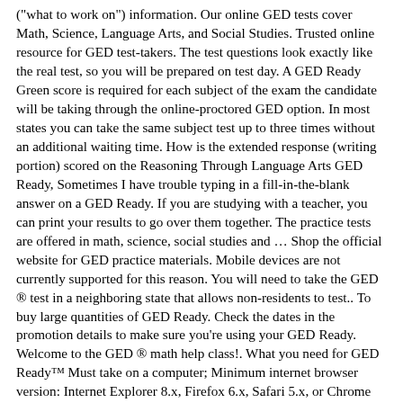("what to work on") information. Our online GED tests cover Math, Science, Language Arts, and Social Studies. Trusted online resource for GED test-takers. The test questions look exactly like the real test, so you will be prepared on test day. A GED Ready Green score is required for each subject of the exam the candidate will be taking through the online-proctored GED option. In most states you can take the same subject test up to three times without an additional waiting time. How is the extended response (writing portion) scored on the Reasoning Through Language Arts GED Ready, Sometimes I have trouble typing in a fill-in-the-blank answer on a GED Ready. If you are studying with a teacher, you can print your results to go over them together. The practice tests are offered in math, science, social studies and … Shop the official website for GED practice materials. Mobile devices are not currently supported for this reason. You will need to take the GED ® test in a neighboring state that allows non-residents to test.. To buy large quantities of GED Ready. Check the dates in the promotion details to make sure you're using your GED Ready. Welcome to the GED ® math help class!. What you need for GED Ready™ Must take on a computer; Minimum internet browser version: Internet Explorer 8.x, Firefox 6.x, Safari 5.x, or Chrome 12.x No internet access needed to take the test. Candidates should log on to their GED.com accounts, then access the GED Marketplace store located here to purchase their practice test(s). You can purchase each subject individually or purchase the bundle for all four subjects together to purchase their practice test(s).